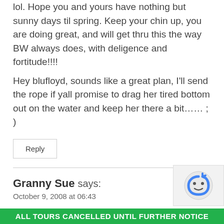lol. Hope you and yours have nothing but sunny days til spring. Keep your chin up, you are doing great, and will get thru this the way BW always does, with deligence and fortitude!!!!
Hey blufloyd, sounds like a great plan, I'll send the rope if yall promise to drag her tired bottom out on the water and keep her there a bit…… ; )
Reply
Granny Sue says:
October 9, 2008 at 06:43
Definitely a fishing trip is in order. Two days aw...
ALL TOURS CANCELLED UNTIL FURTHER NOTICE